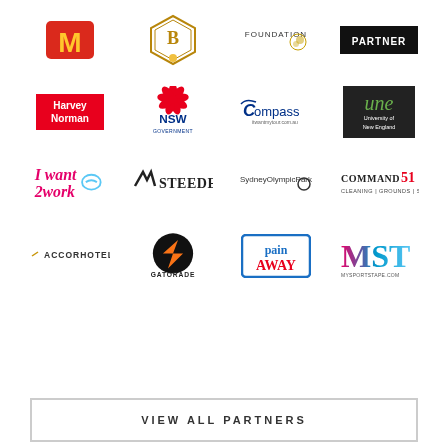[Figure (logo): Grid of sponsor/partner logos: McDonald's, B-something badge, Foundation, dark banner logo; Harvey Norman, NSW Government, Compass, University of New England; IWant2Work, Steeden, Sydney Olympic Park, Command 51; Accor Hotels, Gatorade, Pain Away, MST MySportsTape]
VIEW ALL PARTNERS